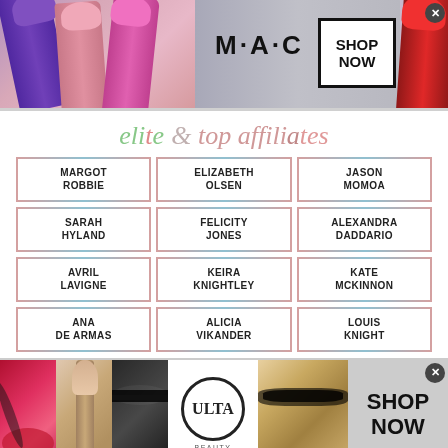[Figure (photo): MAC cosmetics advertisement banner with lipsticks (purple, pink, hot pink, red) and SHOP NOW button]
elite & top affiliates
MARGOT ROBBIE
ELIZABETH OLSEN
JASON MOMOA
SARAH HYLAND
FELICITY JONES
ALEXANDRA DADDARIO
AVRIL LAVIGNE
KEIRA KNIGHTLEY
KATE MCKINNON
ANA DE ARMAS
ALICIA VIKANDER
LOUIS KNIGHT
[Figure (photo): ULTA Beauty advertisement banner with makeup photos and SHOP NOW button]